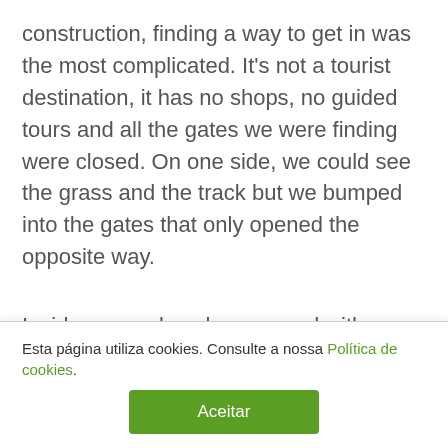construction, finding a way to get in was the most complicated. It's not a tourist destination, it has no shops, no guided tours and all the gates we were finding were closed. On one side, we could see the grass and the track but we bumped into the gates that only opened the opposite way.
Inside, several workers moved with relative ease, unaware that we were looking for a way to get
Esta página utiliza cookies. Consulte a nossa Política de cookies.